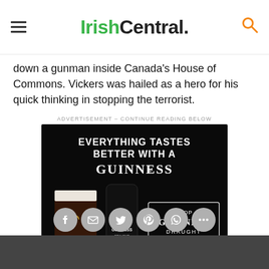IrishCentral.
down a gunman inside Canada's House of Commons. Vickers was hailed as a hero for his quick thinking in stopping the terrorist.
[Figure (photo): Guinness advertisement: 'Everything tastes better with a Guinness' with Guinness pint glass, Draught Stout can, and Shop Guinness Draught button on black background]